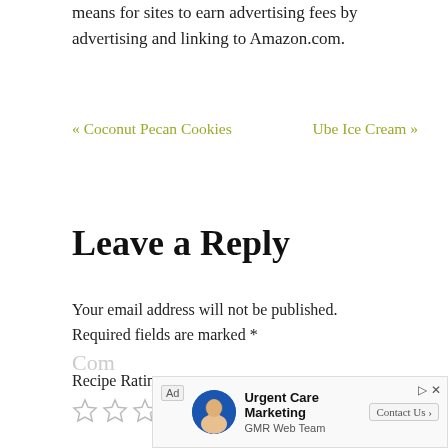means for sites to earn advertising fees by advertising and linking to Amazon.com.
« Coconut Pecan Cookies    Ube Ice Cream »
Leave a Reply
Your email address will not be published. Required fields are marked *
Recipe Rating
[Figure (other): Five empty star rating icons for recipe rating]
[Figure (other): Advertisement banner: Urgent Care Marketing by GMR Web Team with Contact Us button, featuring a person photo avatar]